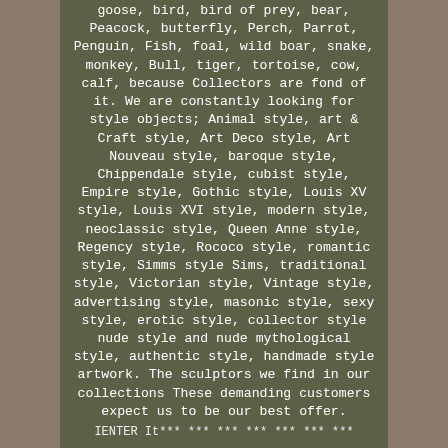goose, bird, bird of prey, bear, Peacock, butterfly, Perch, Parrot, Penguin, Fish, foal, wild boar, snake, monkey, Bull, tiger, tortoise, cow, calf, because Collectors are fond of it. We are constantly looking for style objects; Animal style, art & Craft style, Art Deco style, Art Nouveau style, baroque style, Chippendale style, cubist style, Empire style, Gothic style, Louis XV style, Louis XVI style, modern style, neoclassic style, Queen Anne style, Regency style, Rococo style, romantic style, Simms style Sims, traditional style, Victorian style, Vintage style, advertising style, masonic style, sexy style, erotic style, collector style nude style and nude mythological style, authentic style, handmade style artwork. The sculptors we find in our collections These demanding customers expect us to be our best offer.
IENTER It the *** *** *** *** *** *** ***